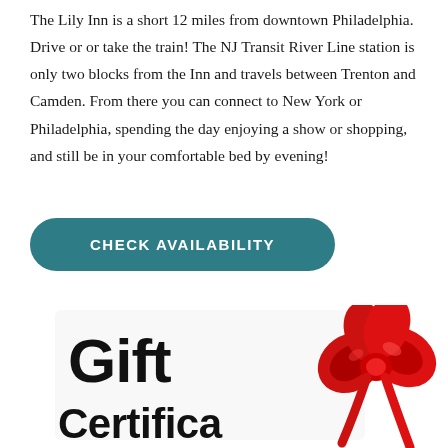The Lily Inn is a short 12 miles from downtown Philadelphia. Drive or or take the train! The NJ Transit River Line station is only two blocks from the Inn and travels between Trenton and Camden. From there you can connect to New York or Philadelphia, spending the day enjoying a show or shopping, and still be in your comfortable bed by evening!
[Figure (other): A teal/dark-cyan rounded rectangle button with white uppercase text reading CHECK AVAILABILITY]
[Figure (photo): A gift certificate card with bold black text reading 'Gift Certificate' and a large red bow in the upper right corner]